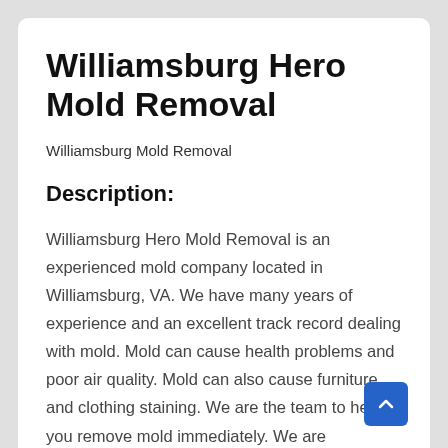Williamsburg Hero Mold Removal
Williamsburg Mold Removal
Description:
Williamsburg Hero Mold Removal is an experienced mold company located in Williamsburg, VA. We have many years of experience and an excellent track record dealing with mold. Mold can cause health problems and poor air quality. Mold can also cause furniture and clothing staining. We are the team to help you remove mold immediately. We are affordable and will give a free quote for any service you want. To get started, call us at (757) 703-4981